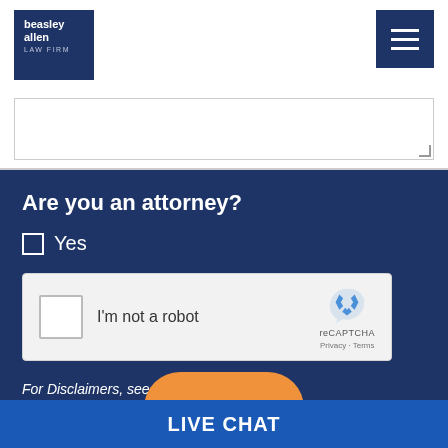[Figure (logo): Beasley Allen Law Firm logo - dark navy blue square with white text reading 'beasley allen LAW FIRM']
[Figure (screenshot): Hamburger menu icon - three white horizontal lines on dark navy background]
Are you an attorney?
Yes
[Figure (screenshot): reCAPTCHA widget with checkbox and 'I'm not a robot' text, reCAPTCHA logo, Privacy and Terms links]
For Disclaimers, see our Terms of Use.
LIVE CHAT